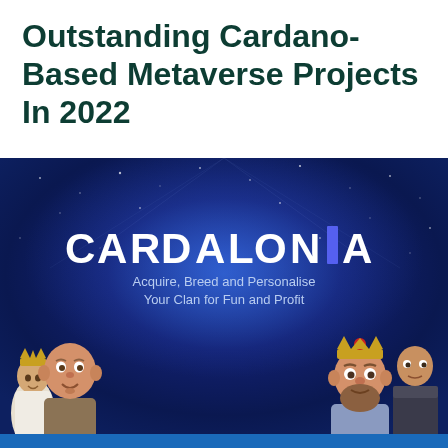Outstanding Cardano-Based Metaverse Projects In 2022
[Figure (illustration): Cardalonia metaverse project banner with animated 3D characters on a dark blue starry background. The CARDALONIA logo is displayed in bold white text with a purple/blue 'I' block. Subtitle reads: Acquire, Breed and Personalise Your Clan for Fun and Profit. Four cartoon-style 3D characters are shown at the bottom.]